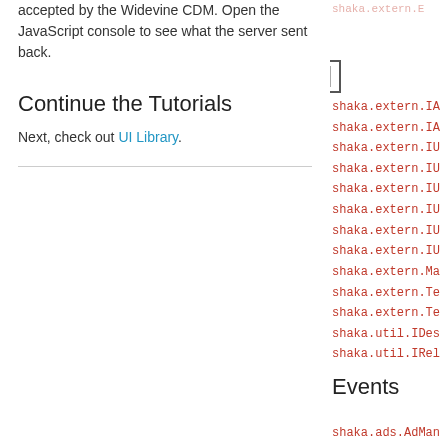accepted by the Widevine CDM. Open the JavaScript console to see what the server sent back.
Continue the Tutorials
Next, check out UI Library.
[Figure (screenshot): Show: exported dropdown selector with border]
shaka.extern.IA
shaka.extern.IA
shaka.extern.IU
shaka.extern.IU
shaka.extern.IU
shaka.extern.IU
shaka.extern.IU
shaka.extern.IU
shaka.extern.Ma
shaka.extern.Te
shaka.extern.Te
shaka.util.IDes
shaka.util.IRel
Events
shaka.ads.AdMan